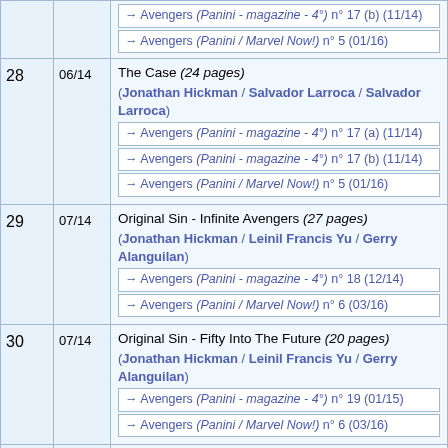| # | Date | Content |
| --- | --- | --- |
|  |  | → Avengers (Panini - magazine - 4°) n° 17 (b) (11/14)
→ Avengers (Panini / Marvel Now!) n° 5 (01/16) |
| 28 | 06/14 | The Case (24 pages)
(Jonathan Hickman / Salvador Larroca / Salvador Larroca)
→ Avengers (Panini - magazine - 4°) n° 17 (a) (11/14)
→ Avengers (Panini - magazine - 4°) n° 17 (b) (11/14)
→ Avengers (Panini / Marvel Now!) n° 5 (01/16) |
| 29 | 07/14 | Original Sin - Infinite Avengers (27 pages)
(Jonathan Hickman / Leinil Francis Yu / Gerry Alanguilan)
→ Avengers (Panini - magazine - 4°) n° 18 (12/14)
→ Avengers (Panini / Marvel Now!) n° 6 (03/16) |
| 30 | 07/14 | Original Sin - Fifty Into The Future (20 pages)
(Jonathan Hickman / Leinil Francis Yu / Gerry Alanguilan)
→ Avengers (Panini - magazine - 4°) n° 19 (01/15)
→ Avengers (Panini / Marvel Now!) n° 6 (03/16) |
| 31 | 08/14 | Original Sin - 500 Into The Future (20 pages)
(Jonathan Hickman / Leinil Francis Yu / Gerry Alanguilan)
→ Avengers (Panini - magazine - 4°) n° 19 (01/15)
→ Avengers (Panini / Marvel Now!) n° 6 (03/16) |
| 32 | 09/14 | Original Sin - Five Thousand Into The Future (20 pages)
(Jonathan Hickman / Leinil Francis Yu / Gerry Alanguilan)
→ Avengers (Panini - magazine - 4°) n° 20 (02/15)
→ Avengers (Panini / Marvel Now!) n° 6 (03/16) |